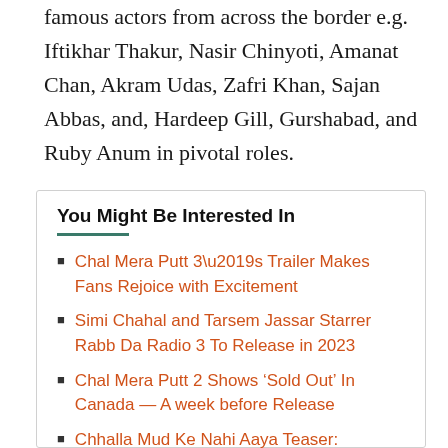famous actors from across the border e.g. Iftikhar Thakur, Nasir Chinyoti, Amanat Chan, Akram Udas, Zafri Khan, Sajan Abbas, and, Hardeep Gill, Gurshabad, and Ruby Anum in pivotal roles.
You Might Be Interested In
Chal Mera Putt 3’s Trailer Makes Fans Rejoice with Excitement
Simi Chahal and Tarsem Jassar Starrer Rabb Da Radio 3 To Release in 2023
Chal Mera Putt 2 Shows ‘Sold Out’ In Canada — A week before Release
Chhalla Mud Ke Nahi Aaya Teaser: Amrinder